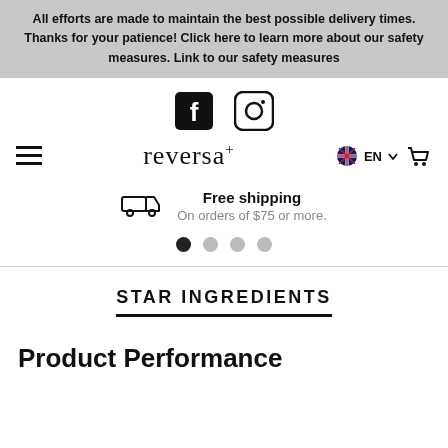All efforts are made to maintain the best possible delivery times. Thanks for your patience! Click here to learn more about our safety measures. Link to our safety measures
[Figure (logo): Facebook and Instagram social media icons]
[Figure (logo): Reversa+ brand logo with hamburger menu, EN language selector with globe icon, and shopping cart icon]
Free shipping
On orders of $75 or more.
[Figure (other): Carousel navigation dots — one active (black), three inactive (grey)]
STAR INGREDIENTS
Product Performance